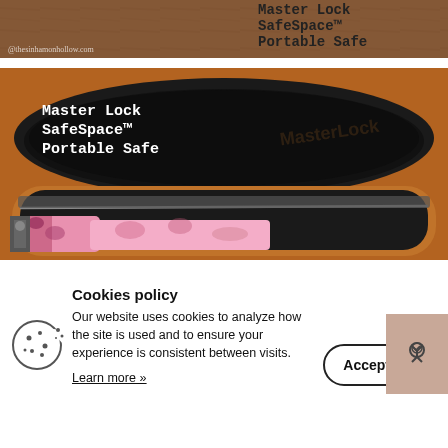[Figure (photo): Cropped top portion of a photo showing a wooden surface with text overlay reading 'Master Lock SafeSpace™ Portable Safe' and a watermark '@thesinhamonhollow.com']
[Figure (photo): Photo of an open Master Lock SafeSpace™ Portable Safe showing the black interior lid with white text and a camo-patterned pink item inside the case]
Cookies policy
Our website uses cookies to analyze how the site is used and to ensure your experience is consistent between visits.
Learn more »